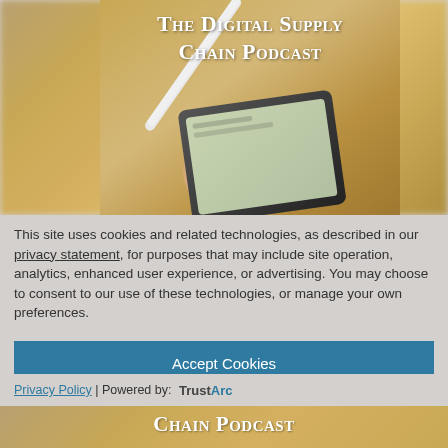[Figure (photo): Podcast cover image showing a hand using a stylus on a tablet, with blurred background of shelves. Title reads 'The Digital Supply Chain Podcast' in white serif text overlay.]
This site uses cookies and related technologies, as described in our privacy statement, for purposes that may include site operation, analytics, enhanced user experience, or advertising. You may choose to consent to our use of these technologies, or manage your own preferences.
Accept Cookies
More Information
Privacy Policy | Powered by: TrustArc
[Figure (photo): Bottom strip showing partial text 'Chain Podcast' in white serif font on a blurred warm-toned background.]